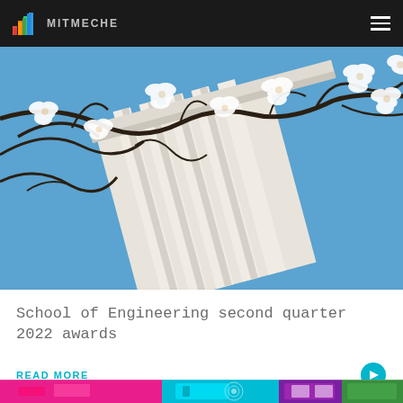MITMECHE
[Figure (photo): Low-angle upward view of a classical white columned building through blossoming white magnolia tree branches against a blue sky]
School of Engineering second quarter 2022 awards
READ MORE
[Figure (screenshot): Colorful digital/tech themed image with pink, cyan and purple hues showing circuit-like patterns]